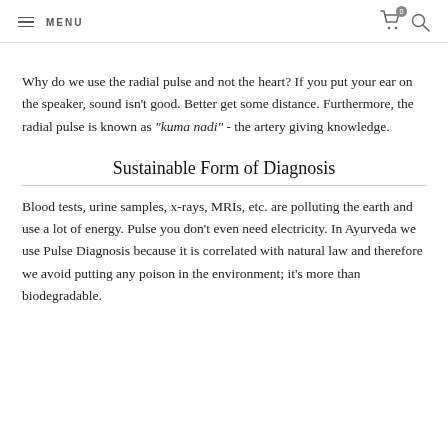MENU
Why do we use the radial pulse and not the heart? If you put your ear on the speaker, sound isn't good. Better get some distance. Furthermore, the radial pulse is known as “kuma nadi” - the artery giving knowledge.
Sustainable Form of Diagnosis
Blood tests, urine samples, x-rays, MRIs, etc. are polluting the earth and use a lot of energy. Pulse you don’t even need electricity. In Ayurveda we use Pulse Diagnosis because it is correlated with natural law and therefore we avoid putting any poison in the environment; it’s more than biodegradable.